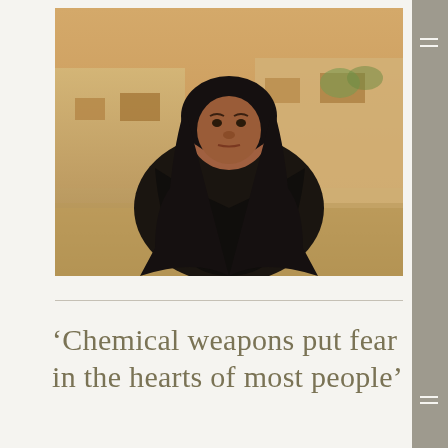[Figure (photo): A woman wearing a black headscarf and dark clothing sits outdoors with sandy-colored buildings in the background, photographed in warm light.]
‘Chemical weapons put fear in the hearts of most people’